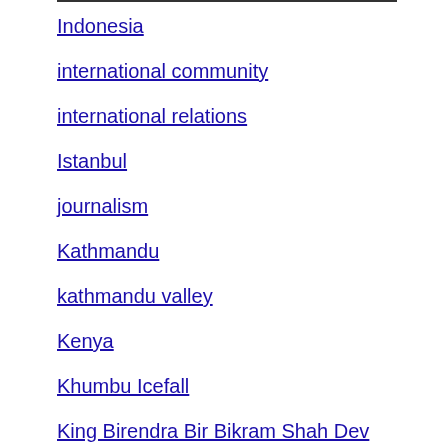Indonesia
international community
international relations
Istanbul
journalism
Kathmandu
kathmandu valley
Kenya
Khumbu Icefall
King Birendra Bir Bikram Shah Dev
landslides
living overseas
long distance relationships
malaysia
Maoists
maristella Lorch
mass kilings
monsoon